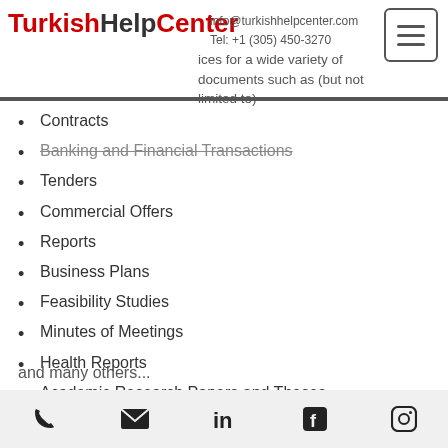Turkish Help Center — info@turkishhelpcenter.com  Tel: +1 (305) 450-3270
provides document services for a wide variety of documents such as (but not limited to)
Contracts
Banking and Financial Transactions
Tenders
Commercial Offers
Reports
Business Plans
Feasibility Studies
Minutes of Meetings
Health Reports
Academic Research Papers and Theses
Magazine Articles, Catalogs, Brochures
Press Releases
Legal Documents
Simultaneous Translation
and many others...
Phone, Email, LinkedIn, Facebook, Instagram icons